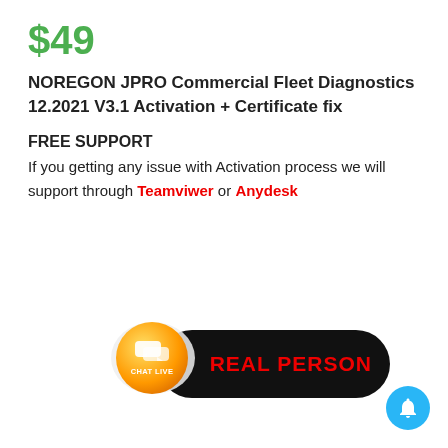$49
NOREGON JPRO Commercial Fleet Diagnostics 12.2021 V3.1 Activation + Certificate fix
FREE SUPPORT
If you getting any issue with Activation process we will support through Teamviwer or Anydesk
[Figure (illustration): Chat Live button with orange circle icon and speech bubble, black pill-shaped background with REAL PERSON text in red, and a blue bell notification button in the bottom right corner.]